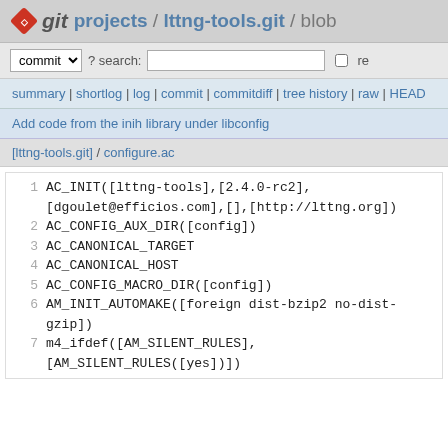git projects / lttng-tools.git / blob
commit ? search: re
summary | shortlog | log | commit | commitdiff | tree history | raw | HEAD
Add code from the inih library under libconfig
[lttng-tools.git] / configure.ac
1 AC_INIT([lttng-tools],[2.4.0-rc2],[dgoulet@efficios.com],[],[http://lttng.org])
2 AC_CONFIG_AUX_DIR([config])
3 AC_CANONICAL_TARGET
4 AC_CANONICAL_HOST
5 AC_CONFIG_MACRO_DIR([config])
6 AM_INIT_AUTOMAKE([foreign dist-bzip2 no-dist-gzip])
7 m4_ifdef([AM_SILENT_RULES],[AM_SILENT_RULES([yes])])